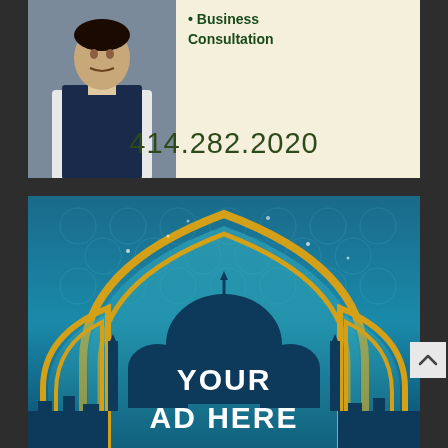[Figure (photo): Top advertisement banner with a person in a dark vest/jacket on the left photo panel, and text '• Business Consultation' on a cream/beige background, with large phone number '414.282.2020' at the bottom of the ad.]
[Figure (illustration): Advertisement banner with Islamic/mosque themed illustration — teal and blue gradient background with geometric Islamic patterns, a decorative golden arch (Mughal/Indo-Islamic style), silhouette of mosque domes and minarets, and bold white text 'YOUR AD HERE'.]